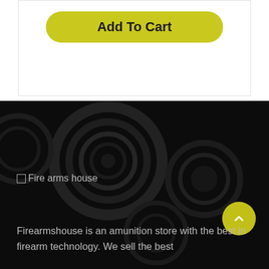Add To Cart
[Figure (screenshot): Dark background section with circular ammunition/firearm parts visible as subtle texture]
[Figure (logo): Fire arms house logo with broken image placeholder icon and text]
Firearmshouse is an amunition store with the best in firearm technology. We sell the best